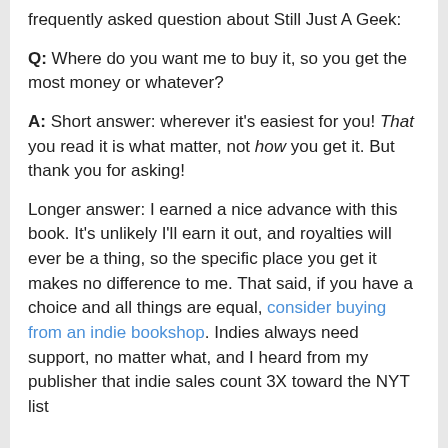frequently asked question about Still Just A Geek:
Q: Where do you want me to buy it, so you get the most money or whatever?
A: Short answer: wherever it's easiest for you! That you read it is what matter, not how you get it. But thank you for asking!
Longer answer: I earned a nice advance with this book. It's unlikely I'll earn it out, and royalties will ever be a thing, so the specific place you get it makes no difference to me. That said, if you have a choice and all things are equal, consider buying from an indie bookshop. Indies always need support, no matter what, and I heard from my publisher that indie sales count 3X toward the NYT list